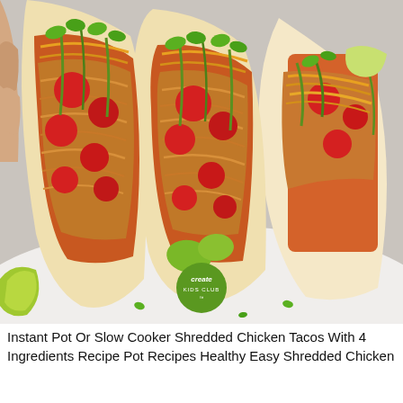[Figure (photo): Close-up photo of three shredded chicken tacos in white flour tortillas on a white plate, topped with shredded orange cheese, diced tomatoes, chopped green onions, cilantro, and avocado. A hand holds the front taco. A green Create Kids Club logo watermark appears near the bottom center of the image.]
Instant Pot Or Slow Cooker Shredded Chicken Tacos With 4 Ingredients Recipe Pot Recipes Healthy Easy Shredded Chicken